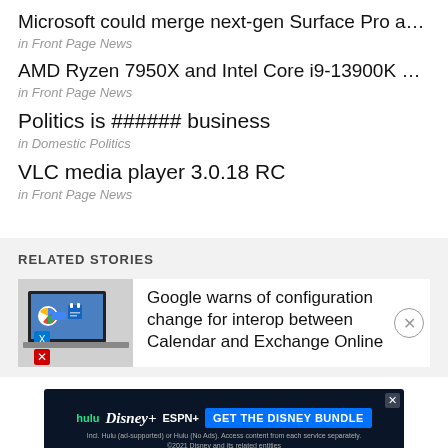Microsoft could merge next-gen Surface Pro and Pro X …
in Front Page News
AMD Ryzen 7950X and Intel Core i9-13900K unable to K….
in Front Page News
Politics is ###### business
in Domestic Politics
VLC media player 3.0.18 RC
in Front Page News
RELATED STORIES
Google warns of configuration change for interop between Calendar and Exchange Online
[Figure (screenshot): Thumbnail showing Google and Microsoft Exchange logos on a laptop screen]
[Figure (infographic): Hulu Disney+ ESPN+ GET THE DISNEY BUNDLE advertisement banner]